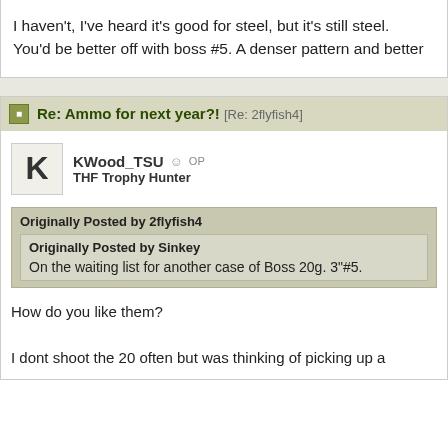I haven't, I've heard it's good for steel, but it's still steel. You'd be better off with boss #5. A denser pattern and better
Re: Ammo for next year?! [Re: 2flyfish4]
KWood_TSU OP
THF Trophy Hunter
Originally Posted by 2flyfish4
Originally Posted by Sinkey
On the waiting list for another case of Boss 20g. 3"#5.
How do you like them?

I dont shoot the 20 often but was thinking of picking up a